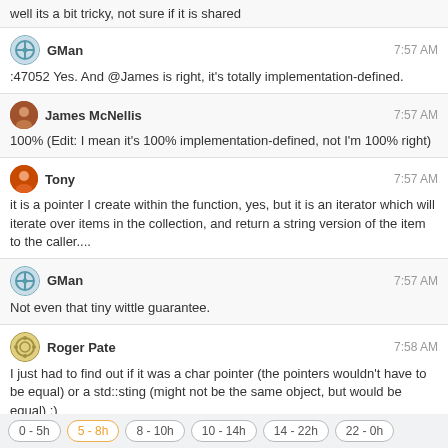well its a bit tricky, not sure if it is shared
GMan 7:57 AM
:47052 Yes. And @James is right, it's totally implementation-defined.
James McNellis 7:57 AM
100% (Edit: I mean it's 100% implementation-defined, not I'm 100% right)
Tony 7:57 AM
it is a pointer I create within the function, yes, but it is an iterator which will iterate over items in the collection, and return a string version of the item to the caller....
GMan 7:57 AM
Not even that tiny wittle guarantee.
Roger Pate 7:58 AM
I just had to find out if it was a char pointer (the pointers wouldn't have to be equal) or a std::sting (might not be the same object, but would be equal) :)
GMan 7:58 AM
@Roger: Oh, then you revealed me asking the wrong question. I was really asking will the strings compare equal. Even so, I still think that's implementation-defined.
@Tony: Can you show us any code?
Roger Pate 7:59 AM
the strings should be equal...
0 - 5h  5 - 8h  8 - 10h  10 - 14h  14 - 22h  22 - 0h